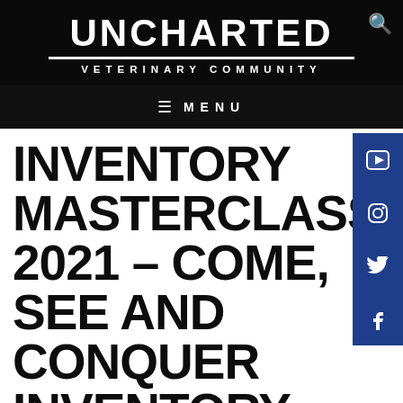UNCHARTED
VETERINARY COMMUNITY
MENU
INVENTORY MASTERCLASS 2021 – COME, SEE AND CONQUER INVENTORY